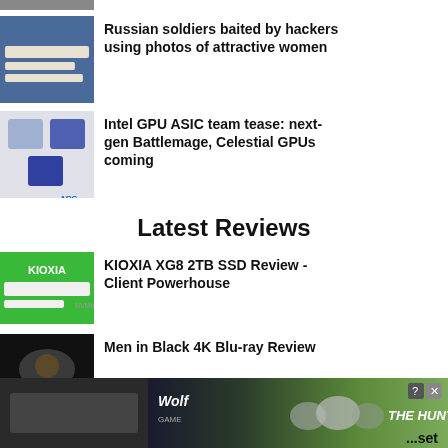[Figure (photo): Thumbnail image partially visible at top]
[Figure (photo): Chat conversation screenshot thumbnail - Russian soldiers article]
Russian soldiers baited by hackers using photos of attractive women
[Figure (photo): Intel Arc GPU product image thumbnail]
Intel GPU ASIC team tease: next-gen Battlemage, Celestial GPUs coming
Latest Reviews
[Figure (photo): KIOXIA XG8 2TB SSD product thumbnail]
KIOXIA XG8 2TB SSD Review - Client Powerhouse
[Figure (photo): Men in Black movie still thumbnail]
Men in Black 4K Blu-ray Review
[Figure (photo): Wolf Game - The Hunt Is On advertisement banner]
...set